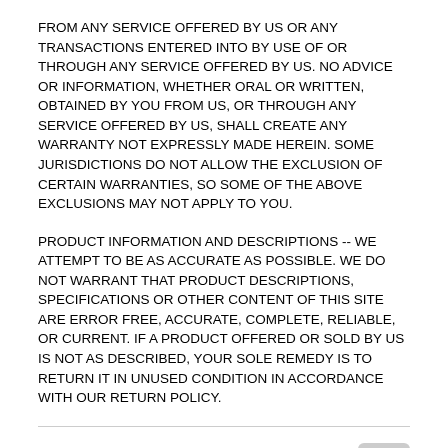FROM ANY SERVICE OFFERED BY US OR ANY TRANSACTIONS ENTERED INTO BY USE OF OR THROUGH ANY SERVICE OFFERED BY US. NO ADVICE OR INFORMATION, WHETHER ORAL OR WRITTEN, OBTAINED BY YOU FROM US, OR THROUGH ANY SERVICE OFFERED BY US, SHALL CREATE ANY WARRANTY NOT EXPRESSLY MADE HEREIN. SOME JURISDICTIONS DO NOT ALLOW THE EXCLUSION OF CERTAIN WARRANTIES, SO SOME OF THE ABOVE EXCLUSIONS MAY NOT APPLY TO YOU.
PRODUCT INFORMATION AND DESCRIPTIONS -- WE ATTEMPT TO BE AS ACCURATE AS POSSIBLE. WE DO NOT WARRANT THAT PRODUCT DESCRIPTIONS, SPECIFICATIONS OR OTHER CONTENT OF THIS SITE ARE ERROR FREE, ACCURATE, COMPLETE, RELIABLE, OR CURRENT. IF A PRODUCT OFFERED OR SOLD BY US IS NOT AS DESCRIBED, YOUR SOLE REMEDY IS TO RETURN IT IN UNUSED CONDITION IN ACCORDANCE WITH OUR RETURN POLICY.
LIMITATION OF LIABILITY
UNDER NO CIRCUMSTANCES, INCLUDING, WITHOUT